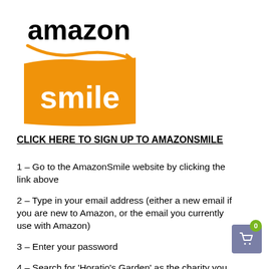[Figure (logo): Amazon Smile logo: 'amazon' text in black bold with orange smile/arrow underline, then orange rectangle with 'smile' in white text]
CLICK HERE TO SIGN UP TO AMAZONSMILE
1 – Go to the AmazonSmile website by clicking the link above
2 – Type in your email address (either a new email if you are new to Amazon, or the email you currently use with Amazon)
3 – Enter your password
4 – Search for 'Horatio's Garden' as the charity you want to support